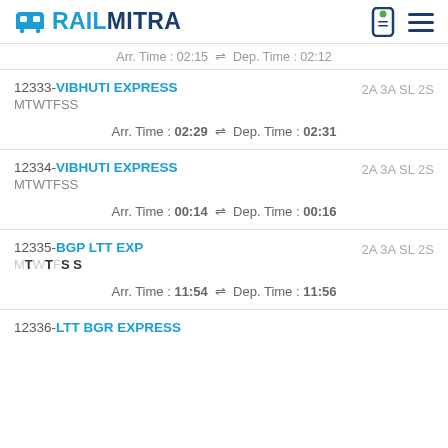RAILMITRA
Arr. Time : 02:15  Dep. Time : 02:12
12333-VIBHUTI EXPRESS MTWTFSS 2A 3A SL 2S Arr. Time : 02:29  Dep. Time : 02:31
12334-VIBHUTI EXPRESS MTWTFSS 2A 3A SL 2S Arr. Time : 00:14  Dep. Time : 00:16
12335-BGP LTT EXP MTWTFSS 2A 3A SL 2S Arr. Time : 11:54  Dep. Time : 11:56
12336-LTT BGR EXPRESS